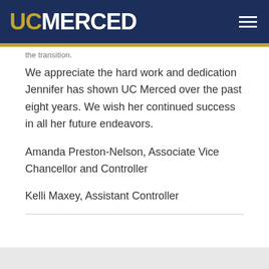UC MERCED
the transition.
We appreciate the hard work and dedication Jennifer has shown UC Merced over the past eight years. We wish her continued success in all her future endeavors.
Amanda Preston-Nelson, Associate Vice Chancellor and Controller
Kelli Maxey, Assistant Controller